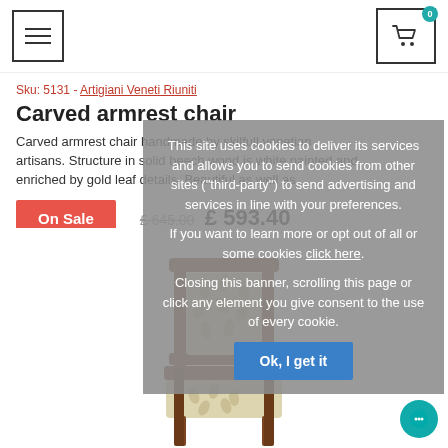[Figure (screenshot): Hamburger menu icon (three horizontal lines in a square border)]
[Figure (screenshot): Shopping cart icon in a square border with badge showing 0]
Sku: 5131 - Artigiani Veneti Riuniti
Carved armrest chair
Carved armrest chair handmade by skilfull venetian artisans. Structure in solid beech wood is white painted and enriched by gold leaf details. Beautiful as well as
[Figure (screenshot): Cookie consent overlay banner with text about cookie policy and Ok button]
On Sale
£ 645.00  £ 593.40
[Figure (photo): Wooden carved armrest chair with beige floral patterned upholstery on back and seat, walnut/dark wood frame]